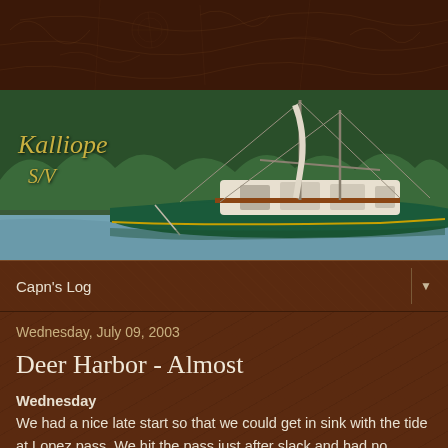[Figure (photo): Top banner: dark brown with antique map texture background]
[Figure (photo): Photograph of sailboat named Kalliope (S/V) moored near forested shoreline. Boat has green hull, white cabin, wooden accents. Label 'Kalliope' in gold italic script and 'S/V' below it on left side of image.]
Capn's Log
Wednesday, July 09, 2003
Deer Harbor - Almost
Wednesday
We had a nice late start so that we could get in sink with the tide at Lopez pass. We hit the pass just after slack and had no problem negiotiating the maze like entrance. Inside the pass, the channel opens up and you have a beutiful view of Lopez island with Orcas in the background. The wind was again blowing close to zero so we had the motor running